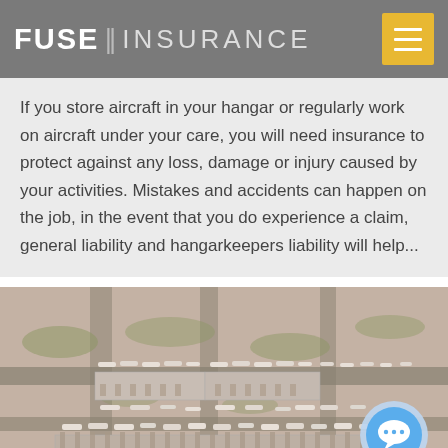FUSE || INSURANCE
If you store aircraft in your hangar or regularly work on aircraft under your care, you will need insurance to protect against any loss, damage or injury caused by your activities. Mistakes and accidents can happen on the job, in the event that you do experience a claim, general liability and hangarkeepers liability will help...
[Figure (photo): Aerial view of a busy airport with multiple aircraft parked at terminal gates and taxiways visible from above]